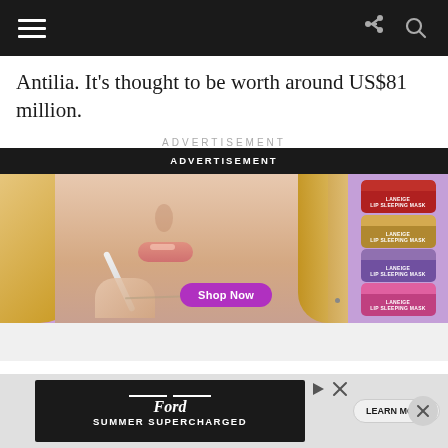Navigation bar with hamburger menu, share icon, and search icon
Antilia. It's thought to be worth around US$81 million.
ADVERTISEMENT
[Figure (photo): Advertisement for Laneige lip products showing a young blonde woman applying lip gloss with small jar products displayed on the right side on a purple background. A 'Shop Now' button is shown at the bottom center. 'ADVERTISEMENT' label at top.]
[Figure (photo): Ford Summer Supercharged advertisement banner with dark background showing Ford logo, 'SUMMER SUPERCHARGED' text, a 'LEARN MORE' button, play and close icons, with a circular close button on the right.]